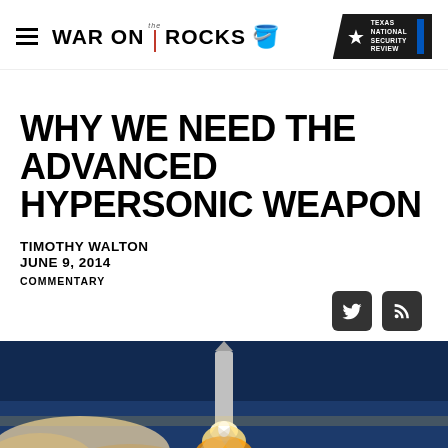WAR ON THE ROCKS
WHY WE NEED THE ADVANCED HYPERSONIC WEAPON
TIMOTHY WALTON
JUNE 9, 2014
COMMENTARY
[Figure (photo): Rocket launch at night with bright flame and exhaust cloud against dark blue sky]